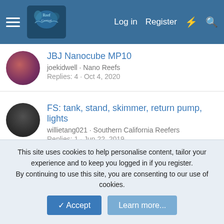Reef Central — Log in | Register
JBJ Nanocube MP10
joekidwell · Nano Reefs
Replies: 4 · Oct 4, 2020
FS: tank, stand, skimmer, return pump, lights
willietang021 · Southern California Reefers
Replies: 1 · Jun 22, 2019
Selling 58 gallon custom Leemar Tank for 200.00
Rippinfrags · Arizona - Fish & Reef Aquarium Group (FRAG)
Replies: 3 · Sep 13, 2019
FS: 45 SC Aquariums, sump, stand, reactors, UV sterilizer and more
This site uses cookies to help personalise content, tailor your experience and to keep you logged in if you register.
By continuing to use this site, you are consenting to our use of cookies.